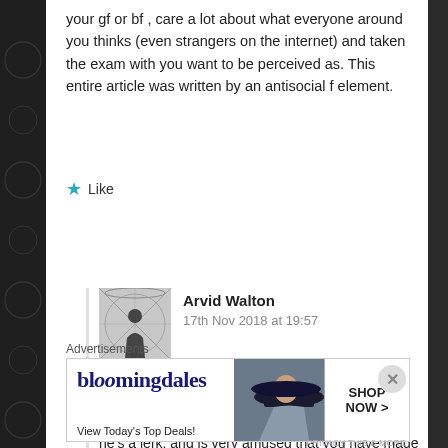your gf or bf, care a lot about what everyone around you thinks (even strangers on the internet) and taken the exam with you want to be perceived as. This entire article was written by an antisocial f element.
★ Like
REPLY
Arvid Walton
17th Nov 2018 at 19:57
[Figure (photo): Avatar photo of Arvid Walton - a person standing near a structure, black and white tones]
Fun facts about Arvid: does not have or want a significant other (is asexual), doesn't care if you have a cat or dog, doesn't like Sherlock because he's a jerk, and is very amused that you have made so may assumptions about a stranger :D
Advertisements
[Figure (screenshot): Bloomingdales advertisement banner: 'View Today's Top Deals!' with SHOP NOW > button and model wearing hat]